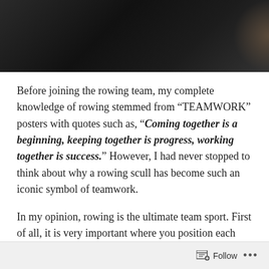[Figure (photo): Dark photograph showing rowing-related imagery, appears as a dark banner at top of page]
Before joining the rowing team, my complete knowledge of rowing stemmed from “TEAMWORK” posters with quotes such as, “Coming together is a beginning, keeping together is progress, working together is success.” However, I had never stopped to think about why a rowing scull has become such an iconic symbol of teamwork.
In my opinion, rowing is the ultimate team sport. First of all, it is very important where you position each member of the team. You want your lighter, less forceful rowers in the front of the boat and the heavier and more dominant